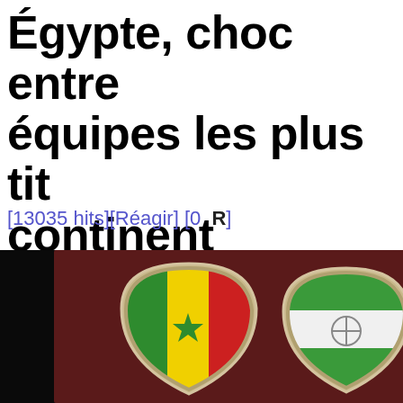Égypte, choc entre équipes les plus titrées du continent
[13035 hits][Réagir] [0  R]
[Figure (photo): Two shield-shaped national team crests/badges side by side on a dark red background — one showing the Senegal flag (green, yellow, red with green star) and one showing a green and white striped flag badge with a symbol, partially visible at right edge.]